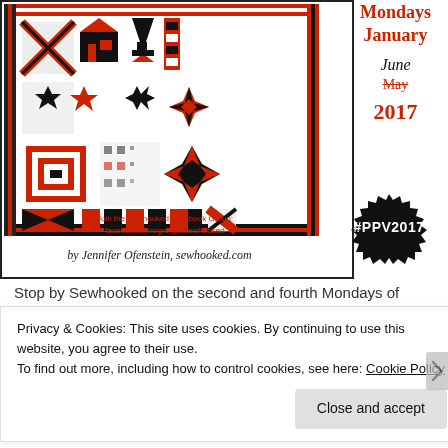[Figure (illustration): Quilt pattern image with red, black and white geometric designs including stars, houses, pinwheels and stripes. Text overlay reads: 'Mondays January', 'June', strikethrough 'May', '2017', '#PPV2017' badge, Facebook group info, and 'by Jennifer Ofenstein, sewhooked.com']
Stop by Sewhooked on the second and fourth Mondays of
Privacy & Cookies: This site uses cookies. By continuing to use this website, you agree to their use.
To find out more, including how to control cookies, see here: Cookie Policy
Close and accept